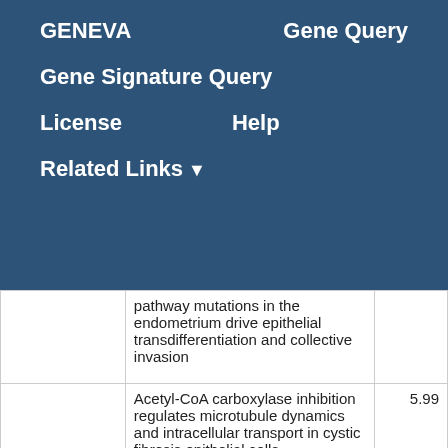GENEVA   Gene Query   Gene Signature Query   License   Help   Related Links
| GSE ID | Description | Score |
| --- | --- | --- |
|  | pathway mutations in the endometrium drive epithelial transdifferentiation and collective invasion |  |
| GSE118567 | Acetyl-CoA carboxylase inhibition regulates microtubule dynamics and intracellular transport in cystic fibrosis epithelial cells | 5.99 |